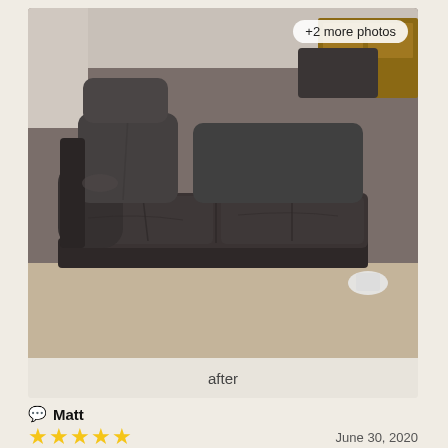[Figure (photo): Photo of a dark brown/grey leather sofa with two seat cushions and rolled arms, photographed in a room with beige carpet. A '+2 more photos' badge appears in the top right of the image. Below the photo is an 'after' label.]
Matt
★★★★★  June 30, 2020
Dare I say this is actually fun?!